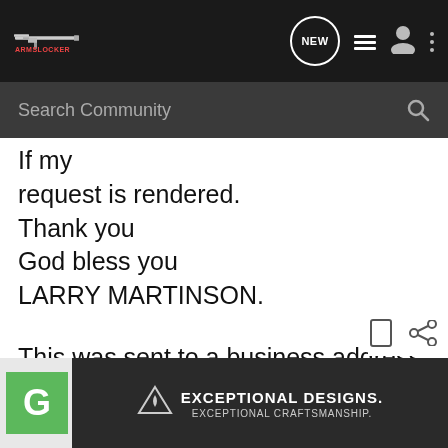[Figure (screenshot): ArmsLocker community website header with logo (rifle image + ARMSLOCKER text in red), NEW chat bubble icon, list icon, user icon, and three-dots menu icon on dark background]
[Figure (screenshot): Search Community input bar with magnifying glass icon on dark grey background]
If my
request is rendered.
Thank you
God bless you
LARRY MARTINSON.
This was sent to a business address.
-cat
[Figure (screenshot): Bottom advertisement bar: green G button on left, Shark's Edge advertisement showing firearm part with text EXCEPTIONAL DESIGNS. EXCEPTIONAL CRAFTSMANSHIP.]